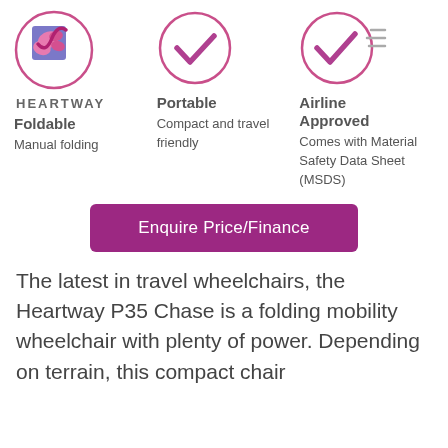[Figure (logo): Heartway logo with butterfly/checkmark graphic in pink and purple, with HEARTWAY text below]
[Figure (illustration): Pink circle with checkmark inside, indicating Portable feature]
[Figure (illustration): Pink circle with checkmark inside, indicating Airline Approved feature]
Foldable
Manual folding
Portable
Compact and travel friendly
Airline Approved
Comes with Material Safety Data Sheet (MSDS)
Enquire Price/Finance
The latest in travel wheelchairs, the Heartway P35 Chase is a folding mobility wheelchair with plenty of power. Depending on terrain, this compact chair